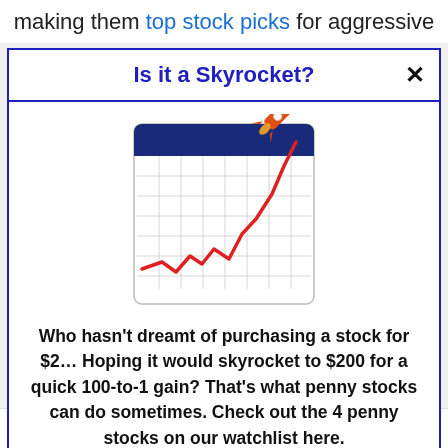making them top stock picks for aggressive
Is it a Skyrocket?
[Figure (illustration): A calendar/chart icon showing a rising red line chart with a rocket launching from the upper right corner, on a grid background with a blue header bar.]
Who hasn't dreamt of purchasing a stock for $2… Hoping it would skyrocket to $200 for a quick 100-to-1 gain? That's what penny stocks can do sometimes. Check out the 4 penny stocks on our watchlist here.
>>> See The List <<<
Top 10 Movies On Amazon Prime